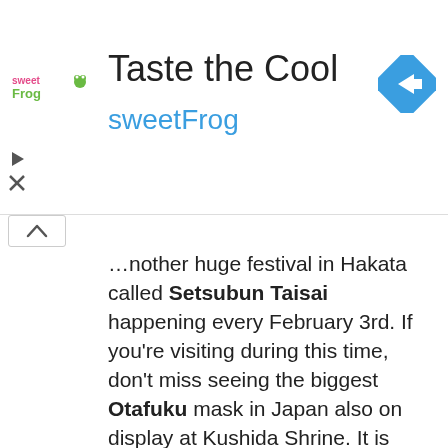[Figure (logo): sweetFrog logo with pink 'sweet' and green 'Frog' text, with frog graphic]
Taste the Cool
sweetFrog
[Figure (logo): Google Maps blue diamond navigation icon with white arrow]
...nother huge festival in Hakata called Setsubun Taisai happening every February 3rd. If you're visiting during this time, don't miss seeing the biggest Otafuku mask in Japan also on display at Kushida Shrine. It is believed that passing through this mask brings good luck.

Kushida Shrine is open daily, from 04:00 am to 10:00 pm. Admission is free.